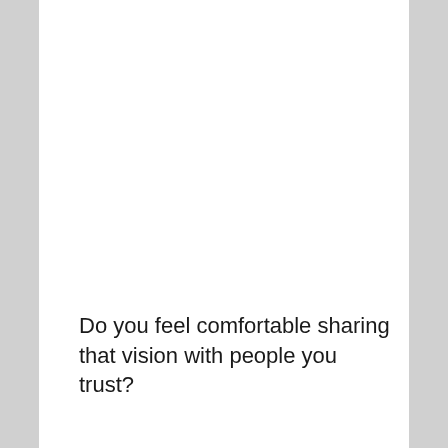Do you feel comfortable sharing that vision with people you trust?